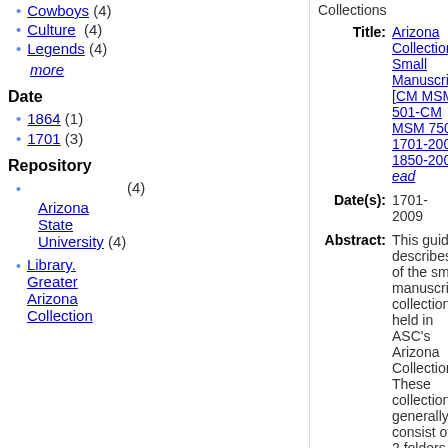Cowboys (4)
Culture (4)
Legends (4)
more
Date
1864 (1)
1701 (3)
Repository
(4)
Arizona State University Library. (4)
Greater Arizona Collection
Collections
Title: Arizona Collection Small Manuscripts [CM MSM 501-CM MSM 750] 1701-2009 1850-2009 ead
Date(s): 1701-2009
Abstract: This guide describes all of the small manuscript collections held in ASC's Arizona Collection. These collections generally consist of 1-2 folders and document Arizona as a territory and state. Manuscripts,